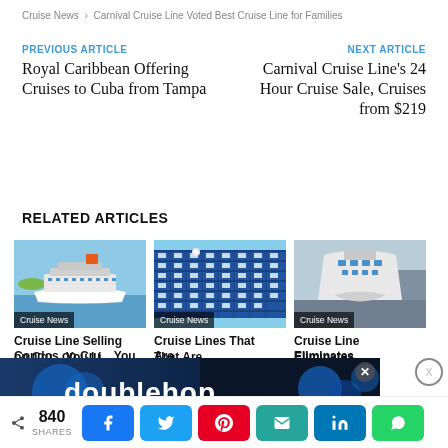Cruise News > Carnival Cruise Line Voted Best Cruise Line for Families
PREVIOUS ARTICLE
Royal Caribbean Offering Cruises to Cuba from Tampa
NEXT ARTICLE
Carnival Cruise Line’s 24 Hour Cruise Sale, Cruises from $219
RELATED ARTICLES
[Figure (photo): Cruise ship aerial view with Cruise News tag]
Cruise Line Selling Condos on Cruises You Li...
[Figure (photo): Close-up of cruise ship side with Cruise News tag]
Cruise Lines That Are...
[Figure (photo): Cruise ship bow view with Cruise News tag]
Cruise Line Eliminates...
[Figure (advertisement): doublehop ad overlay with blue background]
840 SHARES - social share buttons: Facebook, Twitter, Pinterest, Email, LinkedIn, WhatsApp